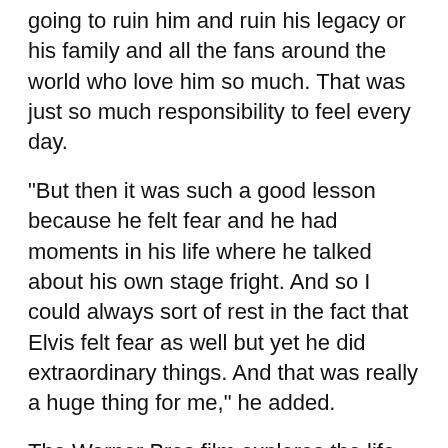going to ruin him and ruin his legacy or his family and all the fans around the world who love him so much. That was just so much responsibility to feel every day.
"But then it was such a good lesson because he felt fear and he had moments in his life where he talked about his own stage fright. And so I could always sort of rest in the fact that Elvis felt fear as well but yet he did extraordinary things. And that was really a huge thing for me," he added.
The Warner Bros film explores the life and music of Presley, seen through the prism of his complicated relationship with his enigmatic manager, Colonel Tom Parker, played by Hollywood veteran Tom Hanks.
The story also delves into the complex dynamic between Presley and Parker spanning over 20 years,